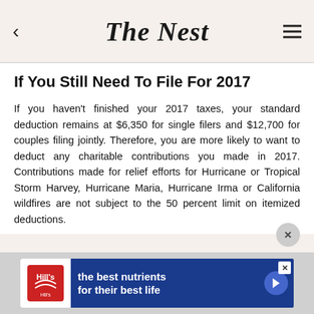The Nest
If You Still Need To File For 2017
If you haven't finished your 2017 taxes, your standard deduction remains at $6,350 for single filers and $12,700 for couples filing jointly. Therefore, you are more likely to want to deduct any charitable contributions you made in 2017. Contributions made for relief efforts for Hurricane or Tropical Storm Harvey, Hurricane Maria, Hurricane Irma or California wildfires are not subject to the 50 percent limit on itemized deductions.
[Figure (other): Advertisement for Hill's pet food: 'the best nutrients for their best life']